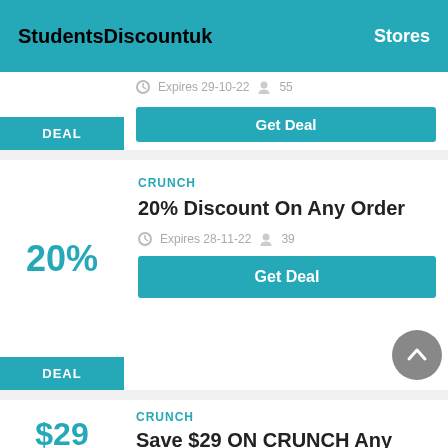StudentsDiscountuk  Stores
DEAL  Expires 29-10-22  55  Get Deal
CRUNCH
20% Discount On Any Order
20%  DEAL  Expires 28-11-22  39  Get Deal
CRUNCH
Save $29 ON CRUNCH Any